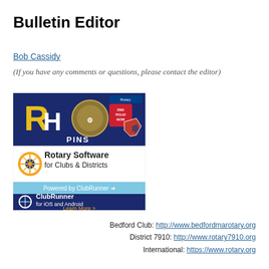Bulletin Editor
Bob Cassidy
(If you have any comments or questions, please contact the editor)
[Figure (illustration): ClubRunner advertisement banner showing Rotary pins at top, 'Rotary Software for Clubs & Districts Powered by ClubRunner', and 'ClubRunner for iOS and Android Learn More >' sections]
Bedford Club: http://www.bedfordmarotary.org
District 7910: http://www.rotary7910.org
International: https://www.rotary.org